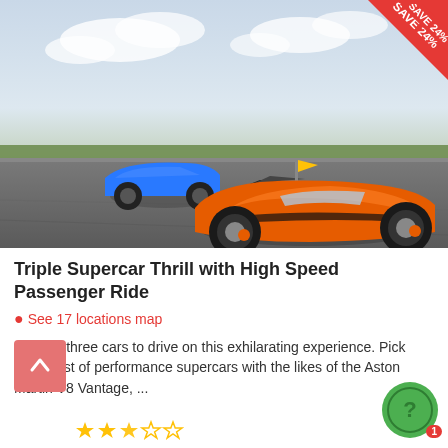[Figure (photo): Orange Lamborghini Gallardo supercar in the foreground on a racing track, blue sports car and open-wheel car in the background, cloudy sky. Red banner in top-right corner with 'SAVE 24%' text.]
Triple Supercar Thrill with High Speed Passenger Ride
See 17 locations map
Choose three cars to drive on this exhilarating experience. Pick from a list of performance supercars with the likes of the Aston Martin V8 Vantage, ...